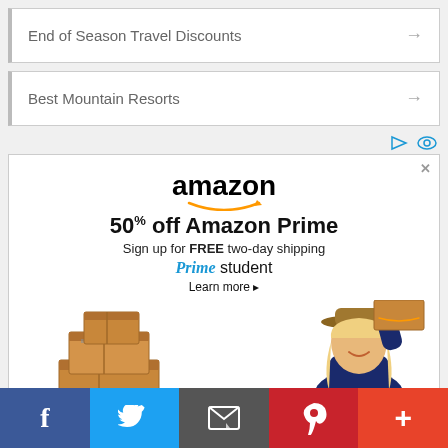End of Season Travel Discounts →
Best Mountain Resorts →
[Figure (screenshot): Amazon Prime ad: 50% off Amazon Prime, Sign up for FREE two-day shipping, Prime student, Learn more. Shows woman with Amazon boxes.]
(partial navigation item)
[Figure (infographic): Social sharing bar with Facebook, Twitter, Email, Pinterest, and More buttons]